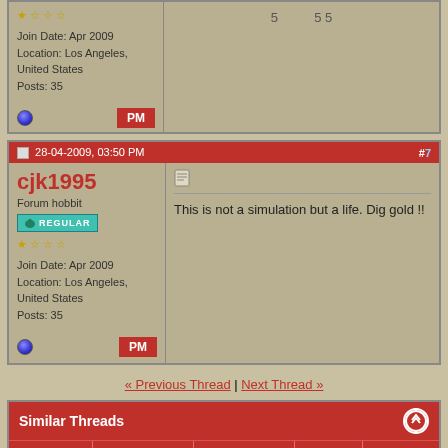Join Date: Apr 2009
Location: Los Angeles, United States
Posts: 35
28-04-2009, 03:50 PM  #7
cjk1995
Forum hobbit
REGULAR
Join Date: Apr 2009
Location: Los Angeles, United States
Posts: 35
This is not a simulation but a life. Dig gold !!
« Previous Thread | Next Thread »
| Thread | Thread Starter | Forum | Replies | Last Post |
| --- | --- | --- | --- | --- |